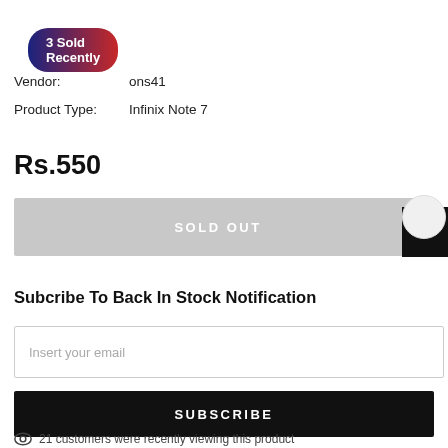3 Sold Recently
Vendor: ons41
Product Type: Infinix Note 7
Rs.550
SOLD OUT
Subcribe To Back In Stock Notification
Insert your email
SUBSCRIBE
21 customers were recently viewing this product